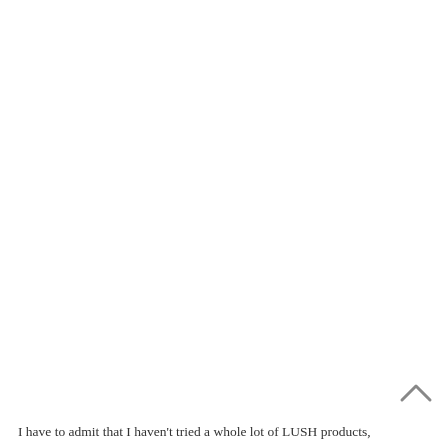[Figure (other): Scroll-to-top arrow icon (chevron/caret pointing upward) in grey, positioned near bottom-right of page]
I have to admit that I haven't tried a whole lot of LUSH products,